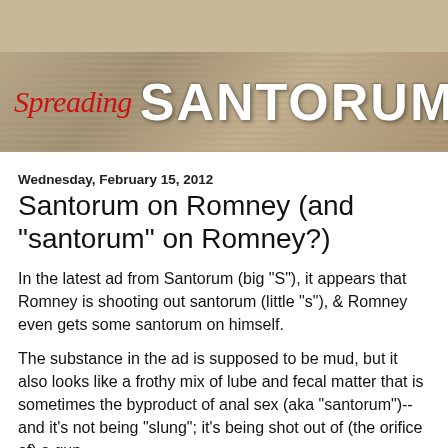[Figure (illustration): Website banner for 'Spreading Santorum' with wood-grain textured background. 'Spreading' in red italic script font on the left, 'SANTORUM' in large white distressed block letters on the right.]
Wednesday, February 15, 2012
Santorum on Romney (and "santorum" on Romney?)
In the latest ad from Santorum (big "S"), it appears that Romney is shooting out santorum (little "s"), & Romney even gets some santorum on himself.
The substance in the ad is supposed to be mud, but it also looks like a frothy mix of lube and fecal matter that is sometimes the byproduct of anal sex (aka "santorum")--and it's not being "slung"; it's being shot out of (the orifice of) a gun.